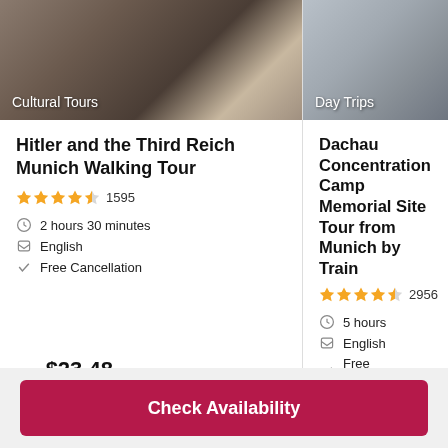[Figure (photo): Street crowd scene with buildings — Cultural Tours label]
Hitler and the Third Reich Munich Walking Tour
★★★★½ 1595
⏱ 2 hours 30 minutes
🗨 English
✓ Free Cancellation
from $23.48
[Figure (photo): People walking near memorial wall — Day Trips label]
Dachau Concentration Camp Memorial Site Tour from Munich by Train
★★★★½ 2956
⏱ 5 hours
🗨 English
✓ Free Cancellation
from $35.73
Check Availability